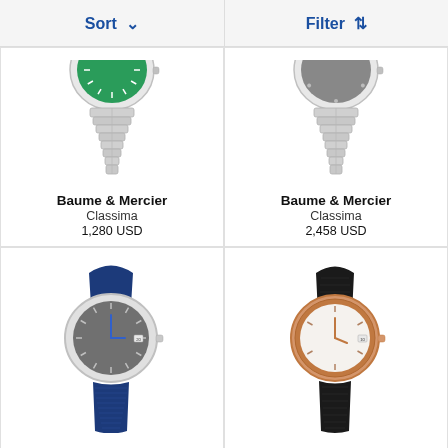Sort ∨    Filter ↑↓
[Figure (photo): Baume & Mercier Classima watch with green dial and silver metal bracelet, partially cropped at top]
Baume & Mercier
Classima
1,280 USD
[Figure (photo): Baume & Mercier Classima watch with grey dial and silver metal bracelet, partially cropped at top]
Baume & Mercier
Classima
2,458 USD
[Figure (photo): Baume & Mercier Classima watch with grey dial and blue leather strap]
[Figure (photo): Baume & Mercier Classima watch with white/mother-of-pearl dial, rose gold case, and black leather strap]